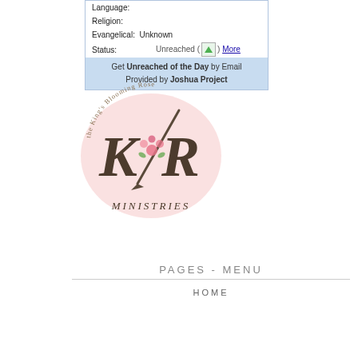[Figure (screenshot): Joshua Project Unreached of the Day widget showing Language, Religion, Evangelical: Unknown, Status: Unreached with a small image icon and More link, and footer 'Get Unreached of the Day by Email / Provided by Joshua Project']
[Figure (logo): KBR Ministries logo - oval pink background with 'the King's Blooming Rose' curved text, stylized KBR lettering with floral decoration and calligraphy pen, and 'MINISTRIES' text below]
PAGES - MENU
HOME